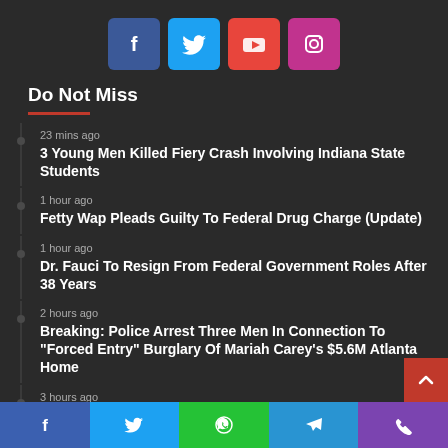[Figure (other): Four social media icon buttons: Facebook (blue), Twitter (light blue), YouTube (red), Instagram (pink/purple)]
Do Not Miss
23 mins ago — 3 Young Men Killed Fiery Crash Involving Indiana State Students
1 hour ago — Fetty Wap Pleads Guilty To Federal Drug Charge (Update)
1 hour ago — Dr. Fauci To Resign From Federal Government Roles After 38 Years
2 hours ago — Breaking: Police Arrest Three Men In Connection To "Forced Entry" Burglary Of Mariah Carey's $5.6M Atlanta Home
3 hours ago — Afroman's House Raided By Ohio Police As They Reportedly
[Figure (other): Bottom navigation bar with five social sharing buttons: Facebook, Twitter, WhatsApp, Telegram, Phone]